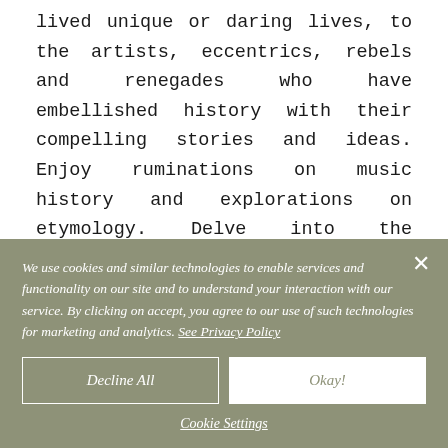lived unique or daring lives, to the artists, eccentrics, rebels and renegades who have embellished history with their compelling stories and ideas. Enjoy ruminations on music history and explorations on etymology. Delve into the workings of creativity, find out how others did it before, and discover new art and design.
We use cookies and similar technologies to enable services and functionality on our site and to understand your interaction with our service. By clicking on accept, you agree to our use of such technologies for marketing and analytics. See Privacy Policy
Decline All
Okay!
Cookie Settings